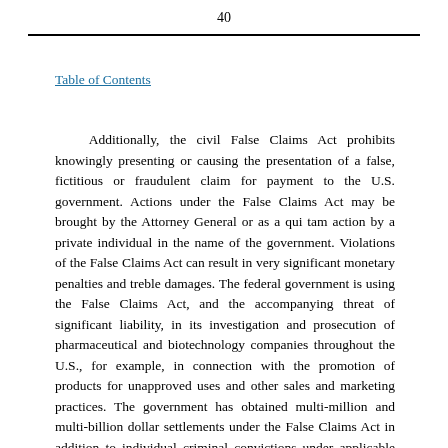40
Table of Contents
Additionally, the civil False Claims Act prohibits knowingly presenting or causing the presentation of a false, fictitious or fraudulent claim for payment to the U.S. government. Actions under the False Claims Act may be brought by the Attorney General or as a qui tam action by a private individual in the name of the government. Violations of the False Claims Act can result in very significant monetary penalties and treble damages. The federal government is using the False Claims Act, and the accompanying threat of significant liability, in its investigation and prosecution of pharmaceutical and biotechnology companies throughout the U.S., for example, in connection with the promotion of products for unapproved uses and other sales and marketing practices. The government has obtained multi-million and multi-billion dollar settlements under the False Claims Act in addition to individual criminal convictions under applicable criminal statutes. Given the significant size of